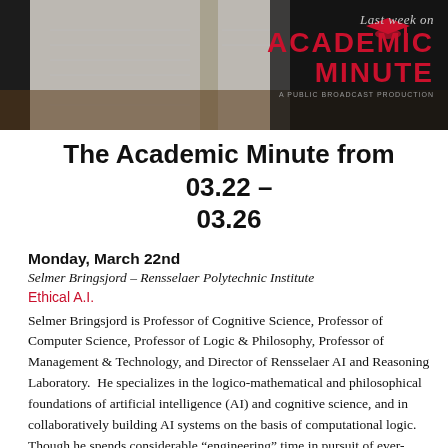[Figure (photo): Banner image showing an open notebook/planner in the background with the 'Last week on The Academic Minute' logo overlay in the top-right corner on a dark background.]
The Academic Minute from 03.22 – 03.26
Monday, March 22nd
Selmer Bringsjord – Rensselaer Polytechnic Institute
Ethical A.I.
Selmer Bringsjord is Professor of Cognitive Science, Professor of Computer Science, Professor of Logic & Philosophy, Professor of Management & Technology, and Director of Rensselaer AI and Reasoning Laboratory.  He specializes in the logico-mathematical and philosophical foundations of artificial intelligence (AI) and cognitive science, and in collaboratively building AI systems on the basis of computational logic.  Though he spends considerable “engineering” time in pursuit of ever-smarter computing machines, he says that “armchair” reasoning time has enabled him to deduce that the human